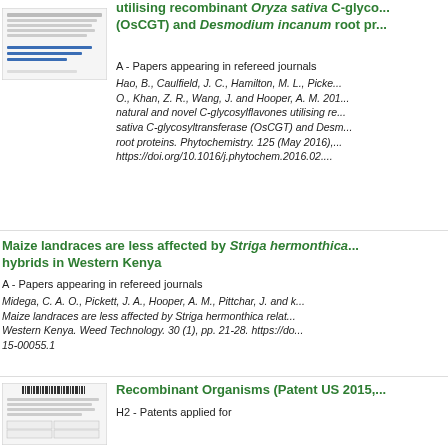utilising recombinant Oryza sativa C-glycosyltransferase (OsCGT) and Desmodium incanum root pr...
A - Papers appearing in refereed journals
Hao, B., Caulfield, J. C., Hamilton, M. L., Pickett... O., Khan, Z. R., Wang, J. and Hooper, A. M. 201... natural and novel C-glycosylflavones utilising recombinant Oryza sativa C-glycosyltransferase (OsCGT) and Desm... root proteins. Phytochemistry. 125 (May 2016)... https://doi.org/10.1016/j.phytochem.2016.02...
Maize landraces are less affected by Striga hermonthica... hybrids in Western Kenya
A - Papers appearing in refereed journals
Midega, C. A. O., Pickett, J. A., Hooper, A. M., Pittchar, J. and k... Maize landraces are less affected by Striga hermonthica relat... Western Kenya. Weed Technology. 30 (1), pp. 21-28. https://do... 15-00055.1
Recombinant Organisms (Patent US 2015,...
H2 - Patents applied for